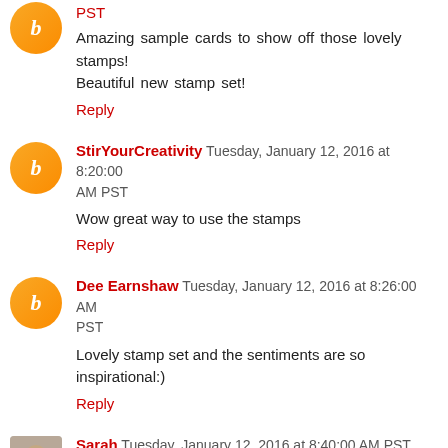PST
Amazing sample cards to show off those lovely stamps! Beautiful new stamp set!
Reply
StirYourCreativity Tuesday, January 12, 2016 at 8:20:00 AM PST
Wow great way to use the stamps
Reply
Dee Earnshaw Tuesday, January 12, 2016 at 8:26:00 AM PST
Lovely stamp set and the sentiments are so inspirational:)
Reply
Sarah Tuesday, January 12, 2016 at 8:40:00 AM PST